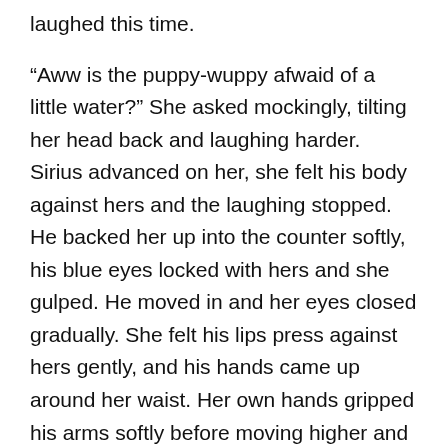laughed this time.
“Aww is the puppy-wuppy afwaid of a little water?” She asked mockingly, tilting her head back and laughing harder. Sirius advanced on her, she felt his body against hers and the laughing stopped. He backed her up into the counter softly, his blue eyes locked with hers and she gulped. He moved in and her eyes closed gradually. She felt his lips press against hers gently, and his hands came up around her waist. Her own hands gripped his arms softly before moving higher and onto his shoulders. Her heart raced and her soul flew in the air around them. When he pulled away she smirked at him.
“If I would’ve known water did this to you…” she started, but he silenced her with another kiss. When he pulled back this time the two stood close together in